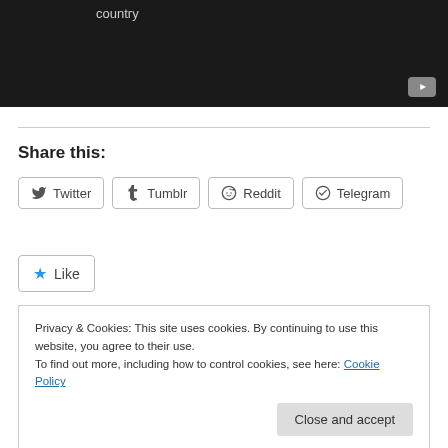[Figure (screenshot): Dark video player area showing 'country' text and YouTube play button icon in lower right]
Share this:
Twitter  Tumblr  Reddit  Telegram
Like
Be the first to like this.
Privacy & Cookies: This site uses cookies. By continuing to use this website, you agree to their use.
To find out more, including how to control cookies, see here: Cookie Policy
Close and accept